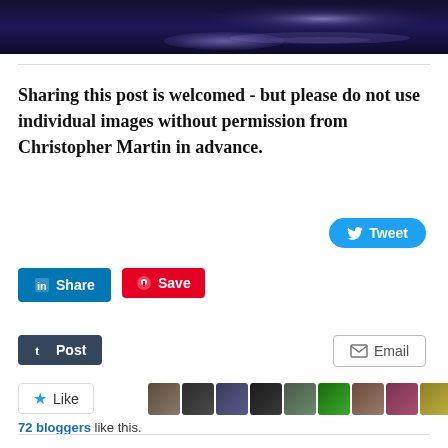[Figure (photo): Night sky photo over water with moonlight reflection, dark blue/purple tones]
Sharing this post is welcomed - but please do not use individual images without permission from Christopher Martin in advance.
[Figure (screenshot): Social sharing buttons: Tweet, Share (LinkedIn), Save (Pinterest), Post (Tumblr), Email]
[Figure (screenshot): Like button with star icon and 72 blogger avatars]
72 bloggers like this.
Related